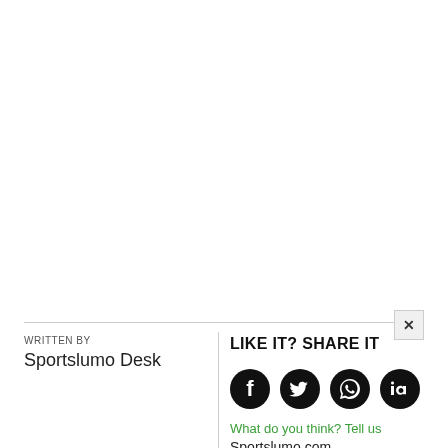WRITTEN BY
Sportslumo Desk
LIKE IT? SHARE IT
What do you think? Tell us
Sportslumo.com